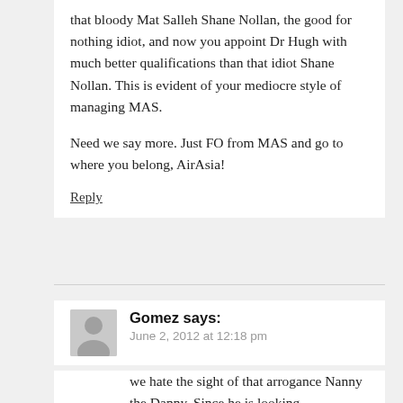that bloody Mat Salleh Shane Nollan, the good for nothing idiot, and now you appoint Dr Hugh with much better qualifications than that idiot Shane Nollan. This is evident of your mediocre style of managing MAS.
Need we say more. Just FO from MAS and go to where you belong, AirAsia!
Reply
Gomez says:
June 2, 2012 at 12:18 pm
we hate the sight of that arrogance Nanny the Danny. Since he is looking